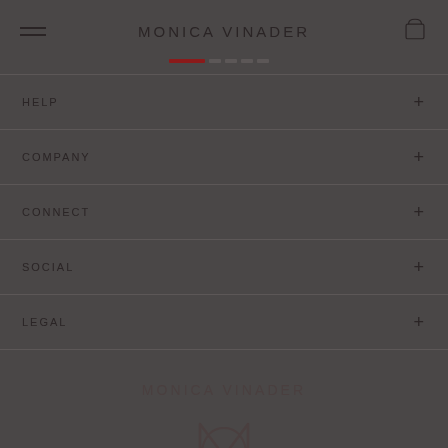MONICA VINADER
HELP
COMPANY
CONNECT
SOCIAL
LEGAL
MONICA VINADER
[Figure (logo): Monica Vinader stylized M logo mark in dark color]